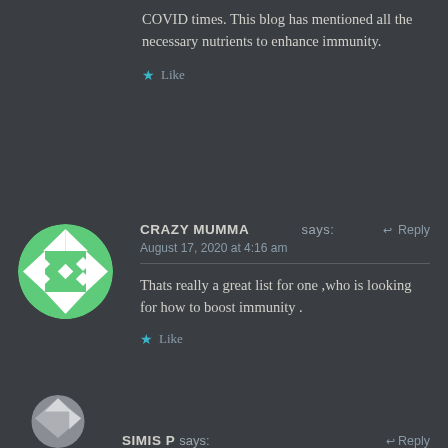COVID times. This blog has mentioned all the necessary nutrients to enhance immunity.
Like
CRAZY MUMMA says:
August 17, 2020 at 4:16 am
Thats really a great list for one ,who is looking for how to boost immunity .
Like
SIMIS P says: